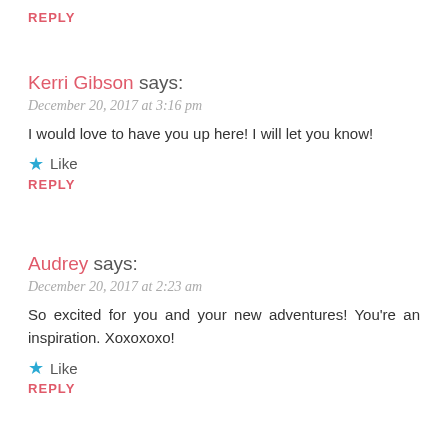REPLY
Kerri Gibson says:
December 20, 2017 at 3:16 pm
I would love to have you up here! I will let you know!
★ Like
REPLY
Audrey says:
December 20, 2017 at 2:23 am
So excited for you and your new adventures! You're an inspiration. Xoxoxoxo!
★ Like
REPLY
Kerri Gibson says:
December 20, 2017 at 3:12 pm